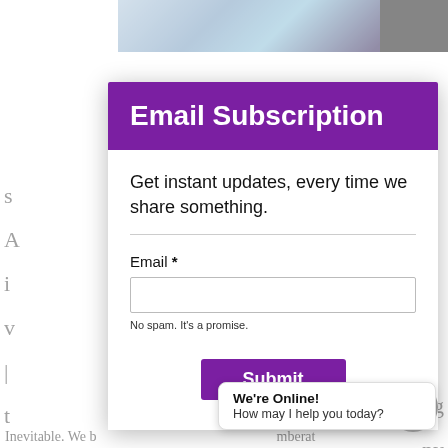[Figure (screenshot): Background webpage with a partially visible image strip at top and article text fragments on left and right sides]
Email Subscription
Get instant updates, every time we share something.
Email *
No spam. It's a promise.
Submit
We're Online!
How may I help you today?